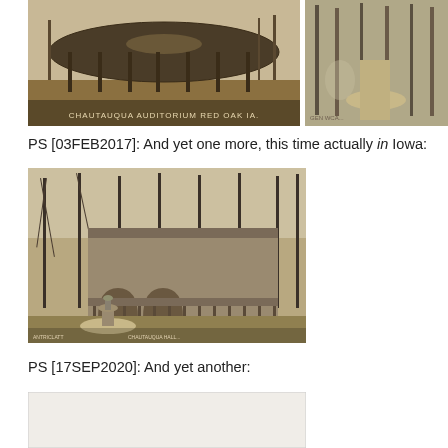[Figure (photo): Sepia-toned historical photograph of a large round Chautauqua Auditorium building in Red Oak, Iowa. Text caption at bottom reads: CHAUTAUQUA AUDITORIUM RED OAK IA.]
[Figure (photo): Sepia/black-and-white photo of a wooded path or road, partially cut off on the right side of the page.]
PS [03FEB2017]: And yet one more, this time actually in Iowa:
[Figure (photo): Black and white historical photograph of a Chautauqua hall building with arched entrance, surrounded by bare trees, with a fountain or monument in the foreground. Caption text visible at bottom.]
PS [17SEP2020]: And yet another:
[Figure (photo): Partially visible photograph, mostly white/light colored, cut off at bottom of page.]